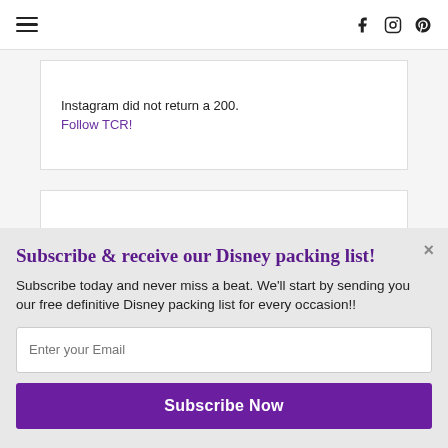≡  f  ⊙  ⊕
Instagram did not return a 200.
Follow TCR!
Subscribe & receive our Disney packing list!
Subscribe today and never miss a beat. We'll start by sending you our free definitive Disney packing list for every occasion!!
Enter your Email
Subscribe Now